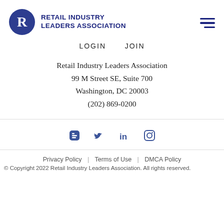[Figure (logo): Retail Industry Leaders Association logo: blue circle with white R, and bold dark blue text 'RETAIL INDUSTRY LEADERS ASSOCIATION']
LOGIN   JOIN
Retail Industry Leaders Association
99 M Street SE, Suite 700
Washington, DC 20003
(202) 869-0200
[Figure (other): Social media icons: Blogger, Twitter, LinkedIn, Instagram]
Privacy Policy  |  Terms of Use  |  DMCA Policy
© Copyright 2022 Retail Industry Leaders Association. All rights reserved.